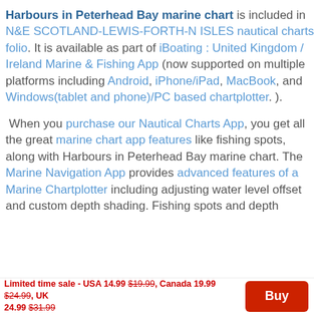Harbours in Peterhead Bay marine chart is included in N&E SCOTLAND-LEWIS-FORTH-N ISLES nautical charts folio. It is available as part of iBoating : United Kingdom / Ireland Marine & Fishing App (now supported on multiple platforms including Android, iPhone/iPad, MacBook, and Windows(tablet and phone)/PC based chartplotter. ).
When you purchase our Nautical Charts App, you get all the great marine chart app features like fishing spots, along with Harbours in Peterhead Bay marine chart. The Marine Navigation App provides advanced features of a Marine Chartplotter including adjusting water level offset and custom depth shading. Fishing spots and depth
Limited time sale - USA 14.99 $19.99, Canada 19.99 $24.99, UK 24.99 $31.99